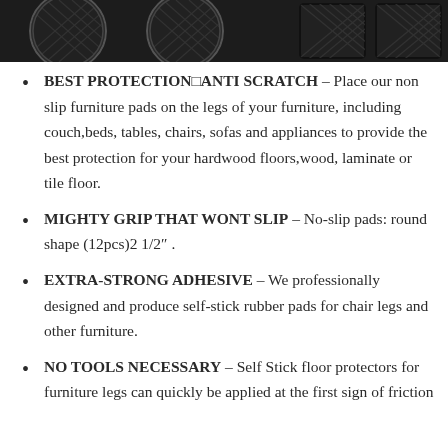[Figure (photo): Product photo strip showing black rubber non-slip furniture pads, round and rectangular shapes, on a dark background]
BEST PROTECTION□ANTI SCRATCH – Place our non slip furniture pads on the legs of your furniture, including couch,beds, tables, chairs, sofas and appliances to provide the best protection for your hardwood floors,wood, laminate or tile floor.
MIGHTY GRIP THAT WONT SLIP – No-slip pads: round shape (12pcs)2 1/2".
EXTRA-STRONG ADHESIVE – We professionally designed and produce self-stick rubber pads for chair legs and other furniture.
NO TOOLS NECESSARY – Self Stick floor protectors for furniture legs can quickly be applied at the first sign of friction with the floor